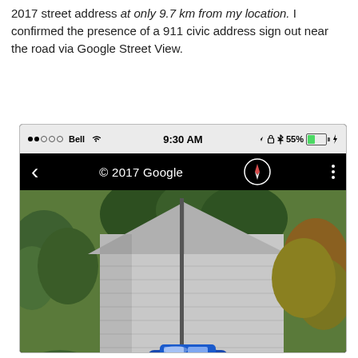2017 street address at only 9.7 km from my location. I confirmed the presence of a 911 civic address sign out near the road via Google Street View.
[Figure (screenshot): iPhone screenshot showing Google Street View of a rural property with a house, blue car in driveway, and a civic address sign near the road. Status bar shows Bell carrier, 9:30 AM, 55% battery. Google Street View interface shows © 2017 Google with compass and navigation controls.]